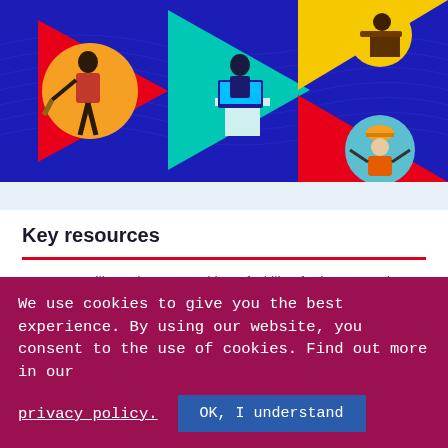[Figure (illustration): Hero banner with dark blue background showing three play-button triangles with illustrated workers: a construction worker on a red/orange triangle (left), a person at a laptop on a teal triangle (center), and a person working at a desk on a yellow triangle plus a construction worker on a red triangle (right). Wavy decorative lines in the background.]
Key resources
How to Facilitate the Recognition of Skills of Migrant Workers: Guide for Employment Services Providers ↗
We use cookies to give you the best experience. By using our website, you consent to the use of cookies. Find out more in our
privacy policy.   OK, I understand